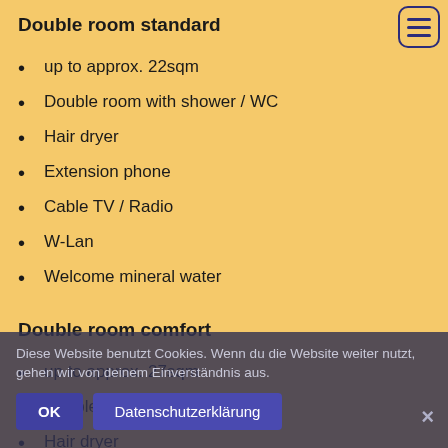Double room standard
up to approx. 22sqm
Double room with shower / WC
Hair dryer
Extension phone
Cable TV / Radio
W-Lan
Welcome mineral water
Double room comfort
up to approx. 27sqm
Double room with shower / WC
Hair dryer
Extension phone
Cable TV / Radio
W-Lan
Diese Website benutzt Cookies. Wenn du die Website weiter nutzt, gehen wir von deinem Einverständnis aus.